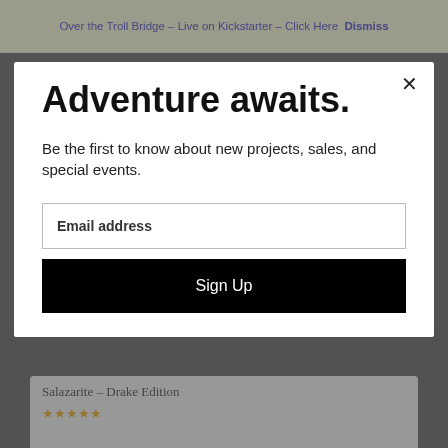Over the Troll Bridge – Live on Kickstarter – Click Here Dismiss
Adventure awaits.
Be the first to know about new projects, sales, and special events.
Email address
Sign Up
Salazarite – Drake Edition